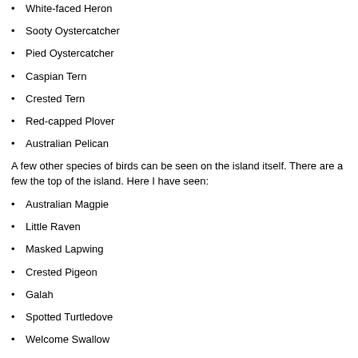White-faced Heron
Sooty Oystercatcher
Pied Oystercatcher
Caspian Tern
Crested Tern
Red-capped Plover
Australian Pelican
A few other species of birds can be seen on the island itself. There are a few the top of the island. Here I have seen:
Australian Magpie
Little Raven
Masked Lapwing
Crested Pigeon
Galah
Spotted Turtledove
Welcome Swallow